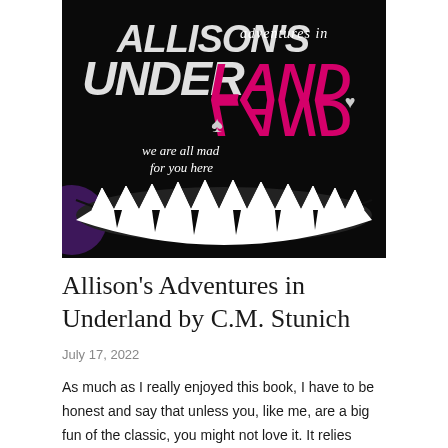[Figure (illustration): Book cover of 'Allison's Adventures in Underland' by C.M. Stunich. Black background with large pink/magenta mirrored text spelling ALLISON'S UNDERLAND with 'adventures in' in white script above. A large white Cheshire Cat smile with jagged teeth dominates the lower half. White italic text reads 'we are all mad for you here'. Spade and heart card suit symbols visible.]
Allison's Adventures in Underland by C.M. Stunich
July 17, 2022
As much as I really enjoyed this book, I have to be honest and say that unless you, like me, are a big fun of the classic, you might not love it. It relies heavily on your knowledge of the classic. Although everything is well explained you will be missing